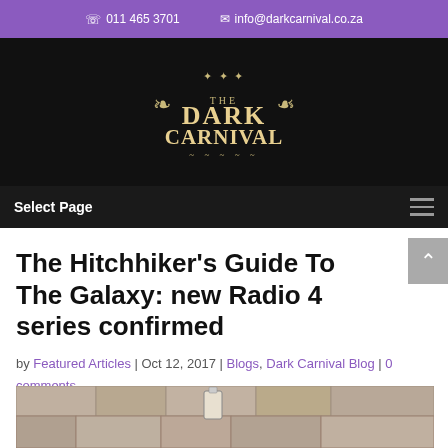☎ 011 465 3701   ✉ info@darkcarnival.co.za
[Figure (logo): The Dark Carnival logo — gothic styled text with crown and ornamental flourishes on a black background]
Select Page
The Hitchhiker's Guide To The Galaxy: new Radio 4 series confirmed
by Featured Articles | Oct 12, 2017 | Blogs, Dark Carnival Blog | 0 comments
[Figure (photo): Partial photo of a stone wall with an object, cropped at bottom of page]